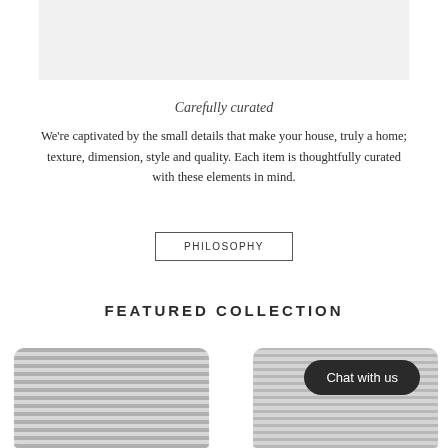[Figure (photo): Light grey rectangular image area at the top of the page, partially cropped]
Carefully curated
We're captivated by the small details that make your house, truly a home; texture, dimension, style and quality. Each item is thoughtfully curated with these elements in mind.
PHILOSOPHY
FEATURED COLLECTION
[Figure (photo): Two decorative throw pillows with horizontal stripe patterns in grey tones, partially visible at the bottom of the page]
Chat with us